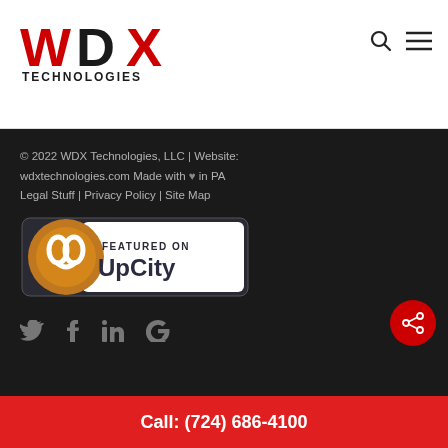WDX Technologies
[Figure (logo): WDX Technologies logo with red WDX lettering and black TECHNOLOGIES text below]
© 2022 WDX Technologies, LLC | Website: wdxtechnologies.com Made with ♥ in PA Legal Stuff | Privacy Policy | Site Map
[Figure (logo): Featured on UpCity badge with orange pretzel logo and white background]
[Figure (infographic): Social media icons: Twitter, Facebook, LinkedIn, Google]
Call: (724) 686-4100